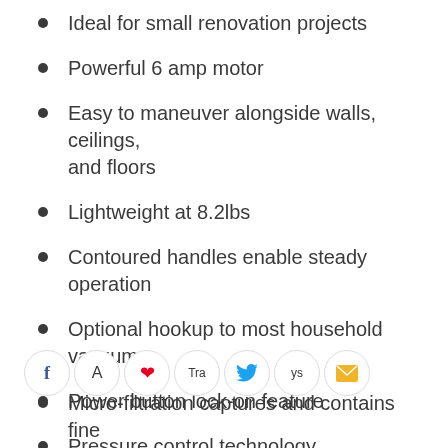Ideal for small renovation projects
Powerful 6 amp motor
Easy to maneuver alongside walls, ceilings, and floors
Lightweight at 8.2lbs
Contoured handles enable steady operation
Optional hookup to most household vacuums
Power button lock-on feature
Pressure control technology
[Figure (other): Social sharing icons row: Facebook (f), A, Pinterest (p), Tra, Twitter bird, ys, Email envelope]
Micro-filtration captures and contains fine